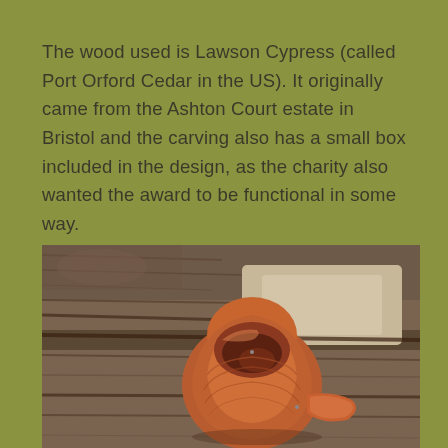The wood used is Lawson Cypress (called Port Orford Cedar in the US). It originally came from the Ashton Court estate in Bristol and the carving also has a small box included in the design, as the charity also wanted the award to be functional in some way.
[Figure (photo): A photograph of a reddish-orange carved wooden sculpture with organic flowing form, open at the top revealing an interior cavity, placed on a rough log or bark surface outdoors.]